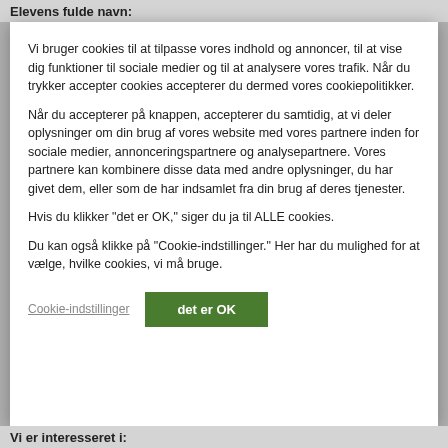Elevens fulde navn:
Vi bruger cookies til at tilpasse vores indhold og annoncer, til at vise dig funktioner til sociale medier og til at analysere vores trafik. Når du trykker accepter cookies accepterer du dermed vores cookiepolitikker.
Når du accepterer på knappen, accepterer du samtidig, at vi deler oplysninger om din brug af vores website med vores partnere inden for sociale medier, annonceringspartnere og analysepartnere. Vores partnere kan kombinere disse data med andre oplysninger, du har givet dem, eller som de har indsamlet fra din brug af deres tjenester.
Hvis du klikker "det er OK," siger du ja til ALLE cookies.
Du kan også klikke på "Cookie-indstillinger." Her har du mulighed for at vælge, hvilke cookies, vi må bruge.
Cookie-indstillinger
det er OK
Vi er interesseret i: